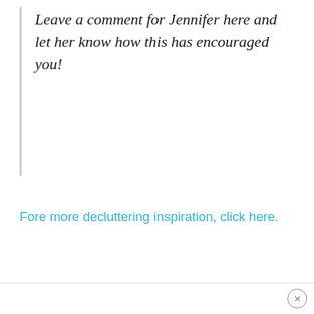Leave a comment for Jennifer here and let her know how this has encouraged you!
Fore more decluttering inspiration, click here.